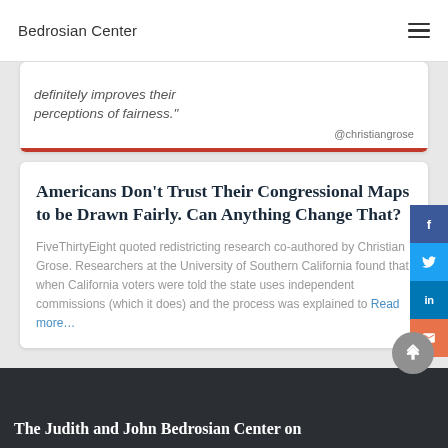Bedrosian Center
definitely improves their perceptions of fairness."
Americans Don’t Trust Their Congressional Maps to be Drawn Fairly. Can Anything Change That?
FiveThirtyEight quoted redistricting research co-authored by Christian Grose. Researchers at the University of Southern California found that when California voters were told the state uses independent commissions (which it does) and the process was explained to Read more…
The Judith and John Bedrosian Center on